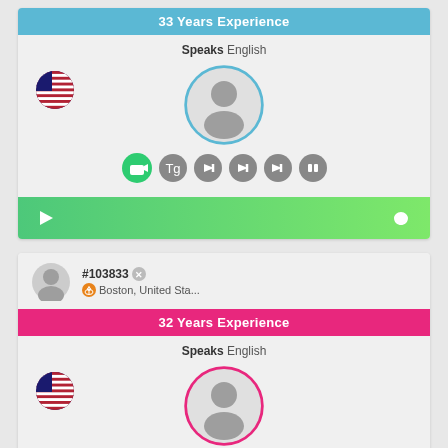33 Years Experience
Speaks English
[Figure (illustration): User profile card with blue avatar circle, US flag icon, media control icons, and green play bar with heart icon]
#103833  Boston, United Sta...
32 Years Experience
Speaks English
[Figure (illustration): Second user profile card with pink avatar circle and US flag icon]